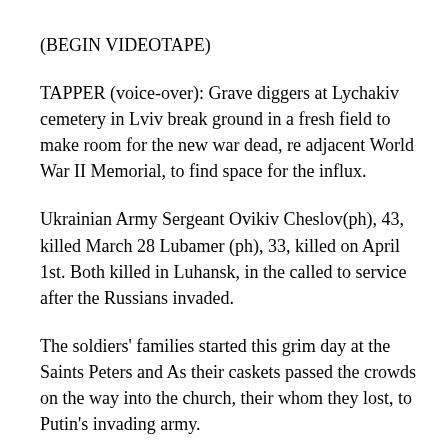(BEGIN VIDEOTAPE)
TAPPER (voice-over): Grave diggers at Lychakiv cemetery in Lviv break ground in a fresh field to make room for the new war dead, re adjacent World War II Memorial, to find space for the influx.
Ukrainian Army Sergeant Ovikiv Cheslov(ph), 43, killed March 28 Lubamer (ph), 33, killed on April 1st. Both killed in Luhansk, in the called to service after the Russians invaded.
The soldiers' families started this grim day at the Saints Peters and As their caskets passed the crowds on the way into the church, their whom they lost, to Putin's invading army.
The sounds of grief, combined with that of prayer. Inside the forme